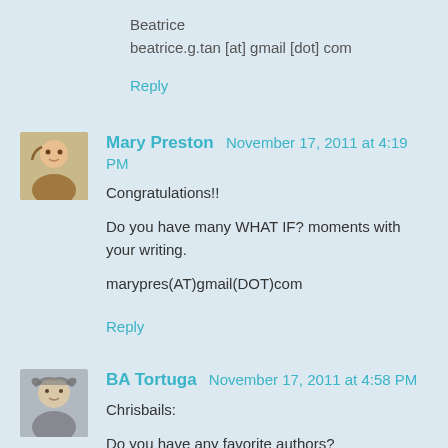Beatrice
beatrice.g.tan [at] gmail [dot] com
Reply
Mary Preston  November 17, 2011 at 4:19 PM
Congratulations!!

Do you have many WHAT IF? moments with your writing.

marypres(AT)gmail(DOT)com
Reply
BA Tortuga  November 17, 2011 at 4:58 PM
Chrisbails:

Do you have any favorite authors?

I love Stephen King, Dean Koontz, Douglas Clegg, and